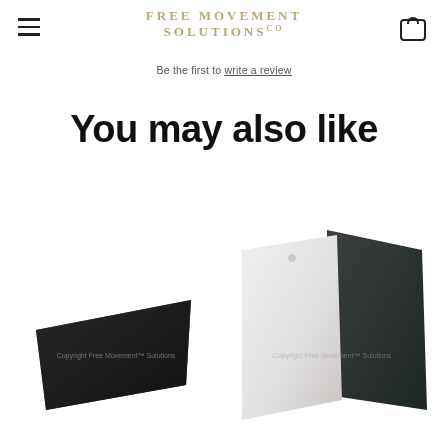Free Movement Solutions
Be the first to write a review
You may also like
[Figure (photo): Black rubber mat product photo with copyright watermark 'Copyright Free Movement™ Solutions']
[Figure (photo): Two overlapping panel samples (white/light grey and dark charcoal) with copyright watermark 'Copyright Free Movement™ Solutions']